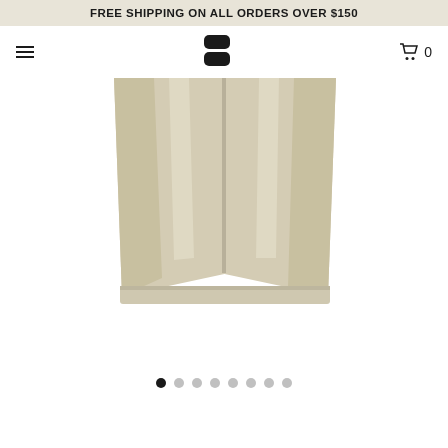FREE SHIPPING ON ALL ORDERS OVER $150
[Figure (screenshot): E-commerce website navigation bar with hamburger menu on left, stylized S logo in center, and shopping cart with 0 items on right]
[Figure (photo): Product photo showing the lower half of beige/cream colored pants legs laid flat, displaying cuffed ankles on a white background]
[Figure (other): Image carousel dot indicators: 8 dots total, first dot is black/active, remaining 7 are gray/inactive]